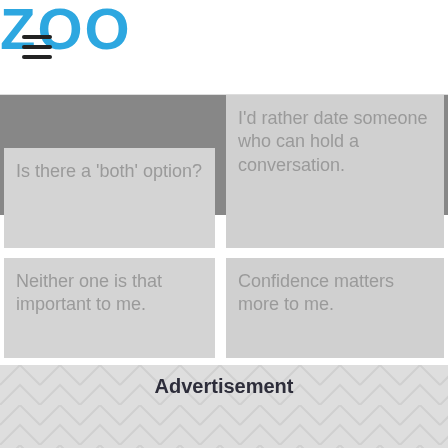ZOO
Is there a 'both' option?
I'd rather date someone who can hold a conversation.
Neither one is that important to me.
Confidence matters more to me.
Advertisement